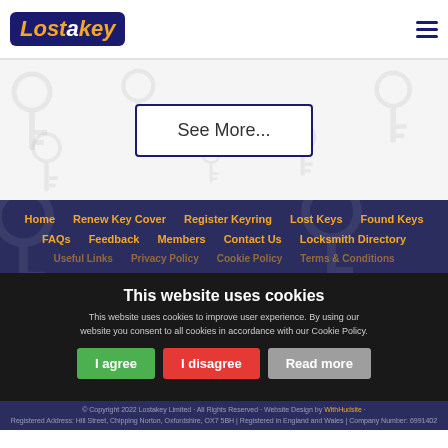[Figure (logo): Lostakey logo - dark blue rounded rectangle with orange italic text 'Lostakey']
[Figure (illustration): Background with key watermark icons and a 'See More...' button in a bordered box]
Home   Renew Key Cover   Register Keyring   Lost Keys   Found Keys   FAQs   Feedback   Members   Contact Us   Locksmith Directory   Useful Links   Privacy Policy   Cookie Policy   Terms & Conditions
This website uses cookies
This website uses cookies to improve user experience. By using our website you consent to all cookies in accordance with our Cookie Policy.
I agree
I disagree
Read more
© Copyright 2022 Lostakey Limited · All Rights Reserved · Website Design by WithHudsite · Registered Address: Hill Street, Chipping Norton, Oxfordshire, OX7 5BH | Registered in England and Wales | Company Number: 6991402